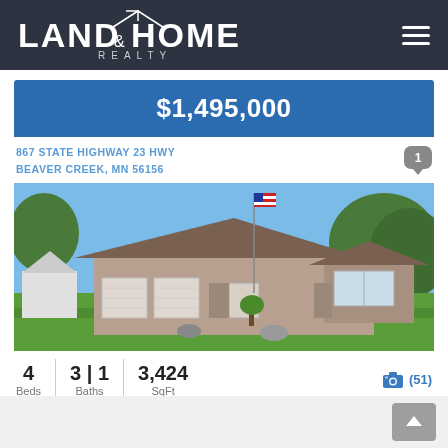[Figure (logo): Land & Home Realty logo with house icon on dark background]
$1,495,000
867 STATE HIGHWAY 23 HWY
BEAVER CREEK, MN 56156
[Figure (photo): Exterior photo of a single-story ranch-style home with attached garage, American flag on a flagpole, green lawn, and trees in the background.]
4 Beds   3 | 1 Baths   3,424 SqFt   (51) photos